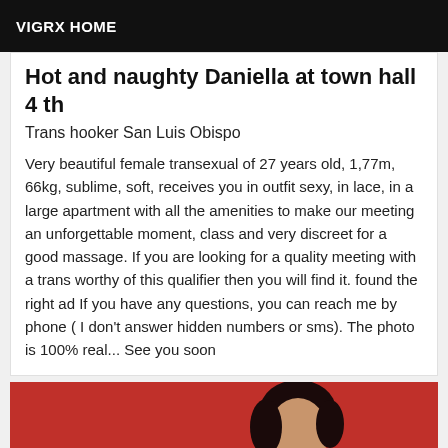VIGRX HOME
Hot and naughty Daniella at town hall 4 th
Trans hooker San Luis Obispo
Very beautiful female transexual of 27 years old, 1,77m, 66kg, sublime, soft, receives you in outfit sexy, in lace, in a large apartment with all the amenities to make our meeting an unforgettable moment, class and very discreet for a good massage. If you are looking for a quality meeting with a trans worthy of this qualifier then you will find it. found the right ad If you have any questions, you can reach me by phone ( I don't answer hidden numbers or sms). The photo is 100% real... See you soon
[Figure (photo): Photo of a person against a red background, partial view showing head and shoulders]